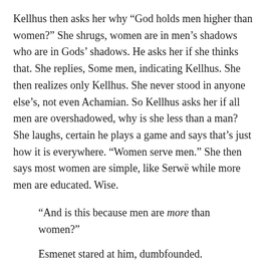Kellhus then asks her why “God holds men higher than women?” She shrugs, women are in men’s shadows who are in Gods’ shadows. He asks her if she thinks that. She replies, Some men, indicating Kellhus. She then realizes only Kellhus. She never stood in anyone else’s, not even Achamian. So Kellhus asks her if all men are overshadowed, why is she less than a man? She laughs, certain he plays a game and says that’s just how it is everywhere. “Women serve men.” She then says most women are simple, like Serwë while more men are educated. Wise.
“And is this because men are more than women?”
Esmenet stared at him, dumbfounded.
“Or is it,” he continued, “because men are granted more than women in this world?”
She stared, her thoughts spinning. She breathed deeply,